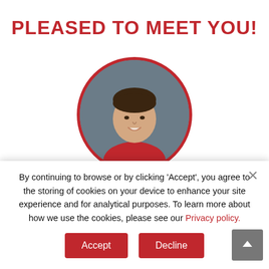PLEASED TO MEET YOU!
[Figure (photo): Circular headshot photo of Vincent Marquis, a young man smiling, wearing a red jersey, with a dark grey background. Photo is framed by a red circular border.]
VINCENT MARQUIS
By continuing to browse or by clicking 'Accept', you agree to the storing of cookies on your device to enhance your site experience and for analytical purposes. To learn more about how we use the cookies, please see our Privacy policy.